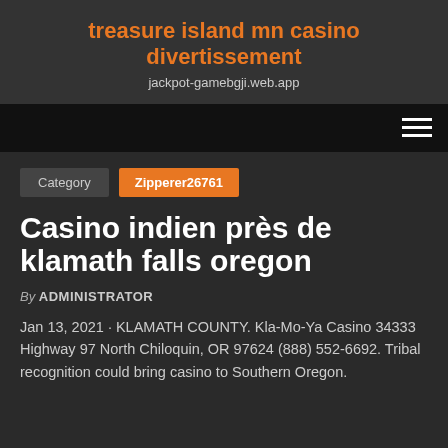treasure island mn casino divertissement
jackpot-gamebgji.web.app
Category   Zipperer26761
Casino indien près de klamath falls oregon
By ADMINISTRATOR
Jan 13, 2021 · KLAMATH COUNTY. Kla-Mo-Ya Casino 34333 Highway 97 North Chiloquin, OR 97624 (888) 552-6692. Tribal recognition could bring casino to Southern Oregon.